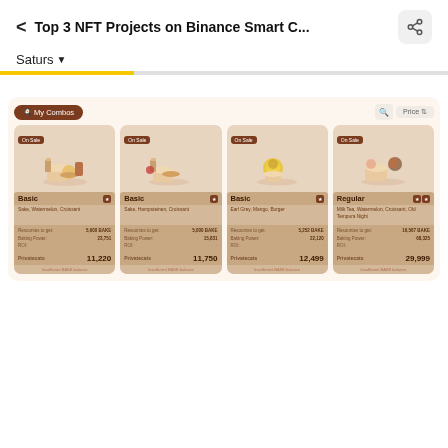< Top 3 NFT Projects on Binance Smart C...
Saturs ▾
[Figure (screenshot): A mobile app screenshot showing an NFT marketplace called Saturs with 4 food-themed NFT combo cards: three labeled 'Basic' and one labeled 'Regular', each showing food illustrations, stats like 'Baking Power', 'ROI', and 'Privatecats' prices (11,220 / 11,750 / 12,499 / 29,999), all marked 'On Sale'.]